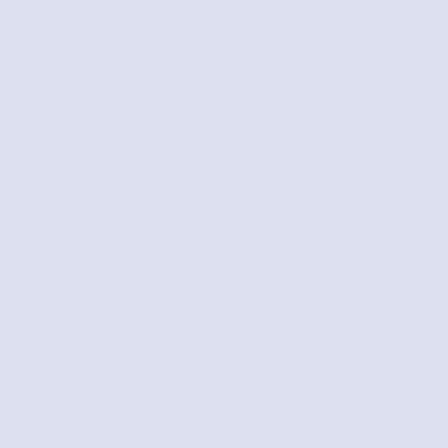/>Poupe: 44% menos </li><li><a href="http://www.outletstimberland.cc/pt/timberland-homens-e-white-6f59-p-162.html"> <a href="http://www.outletstimberland.cc/pt/womens-timberland-boots-c-6.html" ><img src="http://www.outletstimberland.cc/pt/images/_small//timberland/Men-Timberland-Euro/Timberland-Men-Euro-Hike-alt="Timberland Homens Euro Hiker Black White [6f59]" title= Homens Euro Hiker Black White [6f59] " width="130" height= />Timberland Homens Euro Hiker Black White [6f59] <br />$1 />Poupe: 26% menos </li><li><a href="http://www.outletstimberland.cc/pt/timberland-homens-e-64ce-p-157.html"> <a href="http://www.outletstimberland.cc/pt/timberland-boots-c-6.html" ><img src="http://www.outletstimberland.cc/pt/images/_small//timberland/Men-Timberland-Euro/Timberland-Men-Euro-Dub-alt="Timberland Homens Euro Dub Botas Preto [64ce]" title=" Euro Dub Botas Preto [64ce] " width="130" height="87" /></a> Homens Euro Dub Botas Preto [64ce] <br />$325.00 $155.00 < menos </li> <h3 class="leftBoxHeading " id="featuredHeading href="http://www.outletstimberland.cc/pt/featured_products.htm </h3> <a href="http://www.outletstimberland.cc/pt/timberland-botas-gucci-black-white-edea-p-41.html"><img src="http://www.outletstimberland.cc/pt/images/_small//timberland/Men-Timberland-6/Timberland-Men-6-Inch-Boots-White.jpg" alt="Timberland Homens 6 Inch Botas Gucci Black Timberland Homens 6 Inch Botas Gucci Black White [ede